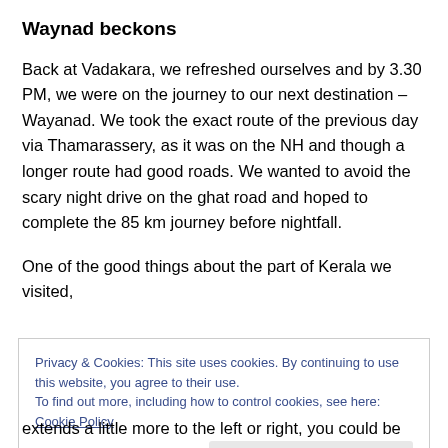Waynad beckons
Back at Vadakara, we refreshed ourselves and by 3.30 PM, we were on the journey to our next destination – Wayanad. We took the exact route of the previous day via Thamarassery, as it was on the NH and though a longer route had good roads. We wanted to avoid the scary night drive on the ghat road and hoped to complete the 85 km journey before nightfall.
One of the good things about the part of Kerala we visited,
Privacy & Cookies: This site uses cookies. By continuing to use this website, you agree to their use.
To find out more, including how to control cookies, see here: Cookie Policy
Close and accept
extends a little more to the left or right, you could be